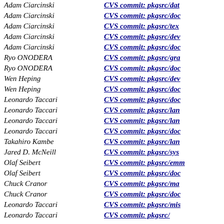Adam Ciarcinski — CVS commit: pkgsrc/dat…
Adam Ciarcinski — CVS commit: pkgsrc/doc…
Adam Ciarcinski — CVS commit: pkgsrc/tex…
Adam Ciarcinski — CVS commit: pkgsrc/dev…
Adam Ciarcinski — CVS commit: pkgsrc/doc…
Ryo ONODERA — CVS commit: pkgsrc/gra…
Ryo ONODERA — CVS commit: pkgsrc/doc…
Wen Heping — CVS commit: pkgsrc/dev…
Wen Heping — CVS commit: pkgsrc/doc…
Leonardo Taccari — CVS commit: pkgsrc/doc…
Leonardo Taccari — CVS commit: pkgsrc/lan…
Leonardo Taccari — CVS commit: pkgsrc/lan…
Leonardo Taccari — CVS commit: pkgsrc/doc…
Takahiro Kambe — CVS commit: pkgsrc/lan…
Jared D. McNeill — CVS commit: pkgsrc/sys…
Olaf Seibert — CVS commit: pkgsrc/emm…
Olaf Seibert — CVS commit: pkgsrc/doc…
Chuck Cranor — CVS commit: pkgsrc/ma…
Chuck Cranor — CVS commit: pkgsrc/doc…
Leonardo Taccari — CVS commit: pkgsrc/mis…
Leonardo Taccari — CVS commit: pkgsrc/…